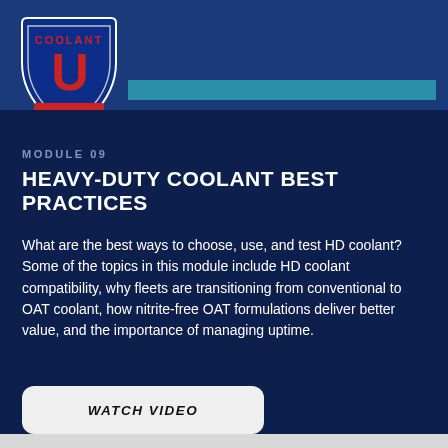[Figure (logo): Coolant U shield logo with red U letter and banner, blue and white colors]
MODULE 09
HEAVY-DUTY COOLANT BEST PRACTICES
What are the best ways to choose, use, and test HD coolant? Some of the topics in this module include HD coolant compatibility, why fleets are transitioning from conventional to OAT coolant, how nitrite-free OAT formulations deliver better value, and the importance of managing uptime.
WATCH VIDEO